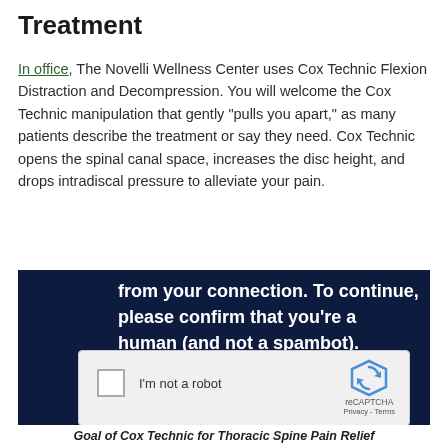Treatment
In office, The Novelli Wellness Center uses Cox Technic Flexion Distraction and Decompression. You will welcome the Cox Technic manipulation that gently "pulls you apart," as many patients describe the treatment or say they need. Cox Technic opens the spinal canal space, increases the disc height, and drops intradiscal pressure to alleviate your pain.
[Figure (screenshot): A dark navy blue overlay/modal showing a CAPTCHA verification prompt. The text reads: 'from your connection. To continue, please confirm that you’re a human (and not a spambot).' Below is a reCAPTCHA widget with a checkbox, 'I'm not a robot' text, and the reCAPTCHA logo with Privacy and Terms links.]
Goal of Cox Technic for Thoracic Spine Pain Relief